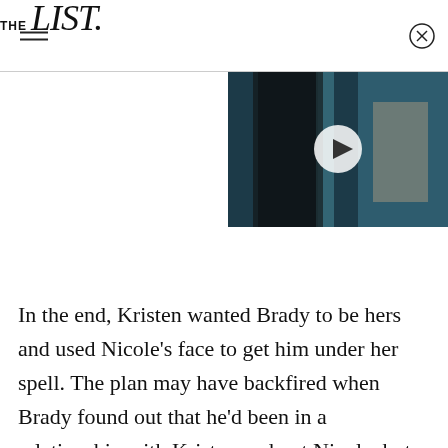THE list
[Figure (photo): Video thumbnail showing two people with dark background and a play button overlay]
In the end, Kristen wanted Brady to be hers and used Nicole's face to get him under her spell. The plan may have backfired when Brady found out that he'd been in a relationship with Kristen and not Nicole, but he and